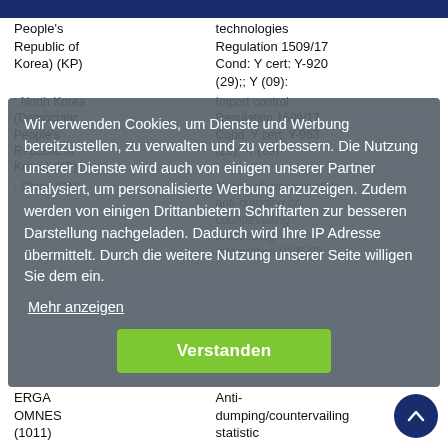| Country | Measure |
| --- | --- |
| People's Republic of Korea) (KP) | technologies
Regulation 1509/17
Cond: Y cert: Y-920
(29);; Y (09): |
| : North Korea (Democratic People's Republic of Korea) (KP) | Import control
Regulation 1509/17
Cond: Y cert: Y-963
(29);; Y (09): |
| : China (CN) | Notice of initiation of an anti-dumping or countervailing proceeding
Information 0195/22 |
| ERGA OMNES (1011) | Anti-dumping/countervailing statistic |
Wir verwenden Cookies, um Dienste und Werbung bereitzustellen, zu verwalten und zu verbessern. Die Nutzung unserer Dienste wird auch von einigen unserer Partner analysiert, um personalisierte Werbung anzuzeigen. Zudem werden von einigen Drittanbietern Schriftarten zur besseren Darstellung nachgeladen. Dadurch wird Ihre IP Adresse übermittelt. Durch die weitere Nutzung unserer Seite willigen Sie dem ein.
Mehr anzeigen
Verstanden